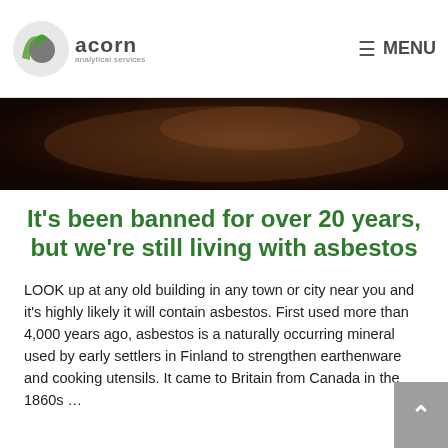acorn analytical services — MENU
[Figure (photo): Dark brown textured surface, possibly soil or rusty material, used as hero image for article about asbestos]
It's been banned for over 20 years, but we're still living with asbestos
LOOK up at any old building in any town or city near you and it's highly likely it will contain asbestos. First used more than 4,000 years ago, asbestos is a naturally occurring mineral used by early settlers in Finland to strengthen earthenware and cooking utensils. It came to Britain from Canada in the 1860s …